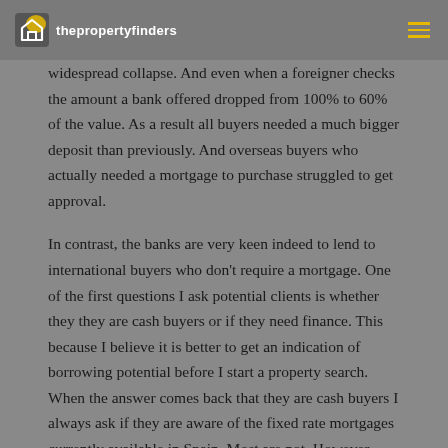thepropertyfinders
widespread collapse.  And even when a foreigner checks the amount a bank offered dropped from 100% to 60% of the value.  As a result all buyers needed a much bigger deposit than previously.  And overseas buyers who actually needed a mortgage to purchase struggled to get approval.
In contrast, the banks are very keen indeed to lend to international buyers who don't require a mortgage. One of the first questions I ask potential clients is whether they they are cash buyers or if they need finance. This because I believe it is better to get an indication of borrowing potential before I start a property search. When the answer comes back that they are cash buyers I always ask if they are aware of the fixed rate mortgages currently available in Spain. Most are not. However, once they